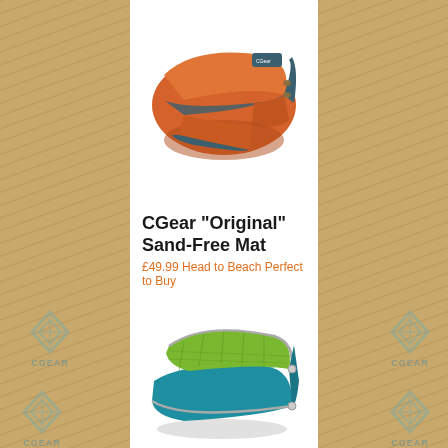[Figure (photo): Orange CGear sand-free mat folded compactly, with dark teal/navy border edges visible, shown on white background]
CGear "Original" Sand-Free Mat
£49.99 Head to Beach Perfect to Buy
[Figure (photo): Teal and green/lime CGear sand-free mat partially unfolded, showing the mesh interior and teal exterior with grey trim, on white background]